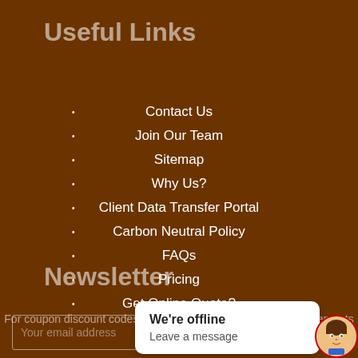Useful Links
Contact Us
Join Our Team
Sitemap
Why Us?
Client Data Transfer Portal
Carbon Neutral Policy
FAQs
Pricing
Get Online Quote?
Newsletter
For coupon discount codes, new products and special announcements sign up now...
Your email address
We're offline
Leave a message